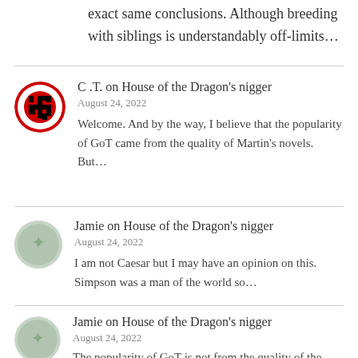exact same conclusions. Although breeding with siblings is understandably off-limits…
C .T. on House of the Dragon's nigger
August 24, 2022
Welcome. And by the way, I believe that the popularity of GoT came from the quality of Martin's novels. But…
Jamie on House of the Dragon's nigger
August 24, 2022
I am not Caesar but I may have an opinion on this. Simpson was a man of the world so…
Jamie on House of the Dragon's nigger
August 24, 2022
The popularity of GoT is not from the quality of the actual content but rather to its marketing…